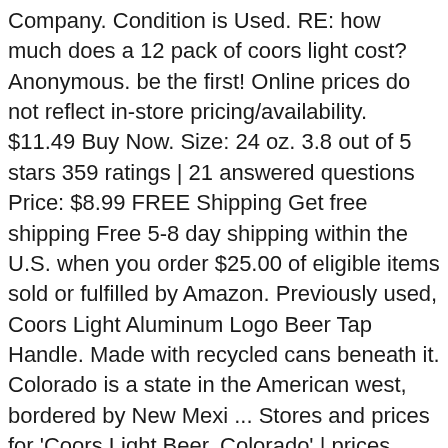Company. Condition is Used. RE: how much does a 12 pack of coors light cost? Anonymous. be the first! Online prices do not reflect in-store pricing/availability. $11.49 Buy Now. Size: 24 oz. 3.8 out of 5 stars 359 ratings | 21 answered questions Price: $8.99 FREE Shipping Get free shipping Free 5-8 day shipping within the U.S. when you order $25.00 of eligible items sold or fulfilled by Amazon. Previously used, Coors Light Aluminum Logo Beer Tap Handle. Made with recycled cans beneath it. Colorado is a state in the American west, bordered by New Mexi ... Stores and prices for 'Coors Light Beer, Colorado' | prices, stores, tasting notes and market data. COORS LIGHT USC Aluminum Beer Tap Handle 12" Tall - NIB - $45.40. Coors Light Beer - 18pk/12 fl oz Cans. Store: Room Temperature. This light calorie beer has 102 calories and 5 grams of carbs per 12 fluid ounce serving. Coors Light × Sign In / Register ... Prices include container deposit fees where applicable. Browse Coors Light Beer, 12 pack, 12 oz Cans and more at DollarGeneral.com. Address. Click the store of your choice to purchase Coors Light